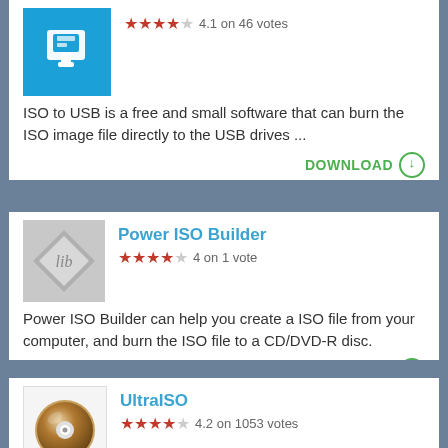[Figure (screenshot): ISO to USB app icon — blue square with white USB drive graphic]
4.1 on 46 votes
ISO to USB is a free and small software that can burn the ISO image file directly to the USB drives ...
DOWNLOAD
Power ISO Builder
[Figure (screenshot): Power ISO Builder app icon — grey diamond/arrow shape with 'lib' text]
4 on 1 vote
Power ISO Builder can help you create a ISO file from your computer, and burn the ISO file to a CD/DVD-R disc.
DOWNLOAD
UltraISO
[Figure (screenshot): UltraISO app icon — white background with a CD/DVD disc graphic]
4.2 on 1053 votes
Along with the large capacity hard disk and better hardware, the demand to create ...